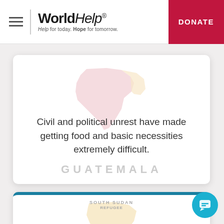WorldHelp — Help for today. Hope for tomorrow. | DONATE
[Figure (illustration): Faded pink/red map silhouette of Guatemala]
Civil and political unrest have made getting food and basic necessities extremely difficult.
GUATEMALA
[Figure (illustration): Faded yellow/orange map silhouette of South Sudan with label SOUTH SUDAN REFUGEE]